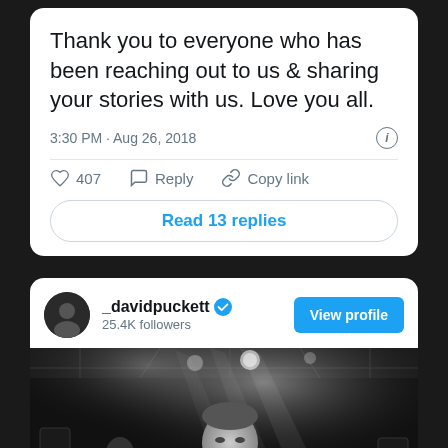Thank you to everyone who has been reaching out to us & sharing your stories with us. Love you all.
3:30 PM · Aug 26, 2018
♡ 407   Reply   Copy link
Read 13 replies
_davidpuckett  25.4K followers
View profile
[Figure (photo): Black and white concert photo of a person smiling on stage with stage lights and equipment visible in the background]